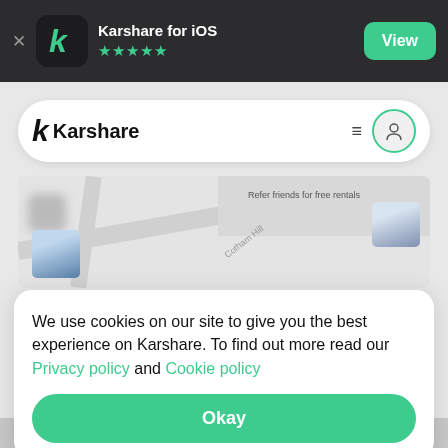[Figure (screenshot): App Store smart banner showing Karshare for iOS app with 5-star rating and a green View button on dark background]
[Figure (screenshot): Karshare app interface showing white navigation bar with Karshare logo, hamburger menu and user profile icon, map view with Cotham Hill road label, blurred car thumbnails, and a cookie consent modal overlay with Privacy policy and Cookie policy links and an Okay button]